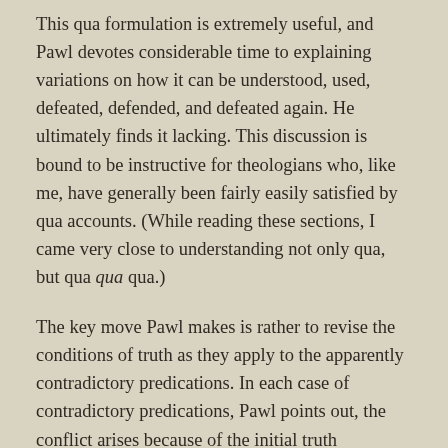This qua formulation is extremely useful, and Pawl devotes considerable time to explaining variations on how it can be understood, used, defeated, defended, and defeated again. He ultimately finds it lacking. This discussion is bound to be instructive for theologians who, like me, have generally been fairly easily satisfied by qua accounts. (While reading these sections, I came very close to understanding not only qua, but qua qua qua.)
The key move Pawl makes is rather to revise the conditions of truth as they apply to the apparently contradictory predications. In each case of contradictory predications, Pawl points out, the conflict arises because of the initial truth conditions assumed. For example, the initial truth conditions of “visible” may be stated as “able to be visually perceived,” which would conflict with “not